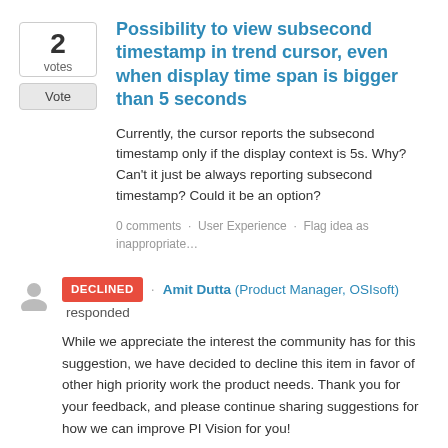Possibility to view subsecond timestamp in trend cursor, even when display time span is bigger than 5 seconds
Currently, the cursor reports the subsecond timestamp only if the display context is 5s. Why? Can't it just be always reporting subsecond timestamp? Could it be an option?
0 comments · User Experience · Flag idea as inappropriate…
DECLINED · Amit Dutta (Product Manager, OSIsoft) responded
While we appreciate the interest the community has for this suggestion, we have decided to decline this item in favor of other high priority work the product needs. Thank you for your feedback, and please continue sharing suggestions for how we can improve PI Vision for you!